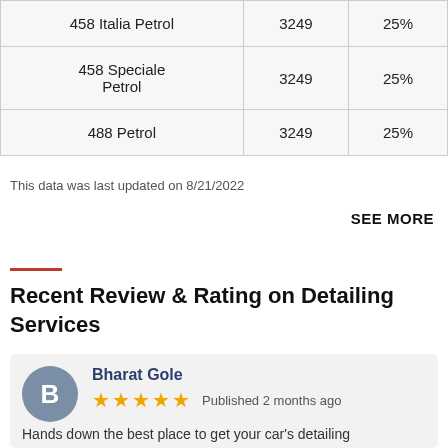| Model | cc | Tax% |
| --- | --- | --- |
| 458 Italia Petrol | 3249 | 25% |
| 458 Speciale Petrol | 3249 | 25% |
| 488 Petrol | 3249 | 25% |
This data was last updated on 8/21/2022
SEE MORE
Recent Review & Rating on Detailing Services
Bharat Gole
★★★★★ Published 2 months ago
Hands down the best place to get your car's detailing